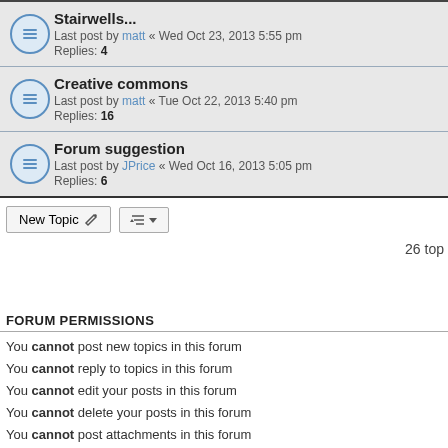Stairwells... Last post by matt « Wed Oct 23, 2013 5:55 pm Replies: 4
Creative commons Last post by matt « Tue Oct 22, 2013 5:40 pm Replies: 16
Forum suggestion Last post by JPrice « Wed Oct 16, 2013 5:05 pm Replies: 6
26 top
FORUM PERMISSIONS
You cannot post new topics in this forum
You cannot reply to topics in this forum
You cannot edit your posts in this forum
You cannot delete your posts in this forum
You cannot post attachments in this forum
Board index
Powered by phpBB®
PRIVACY_